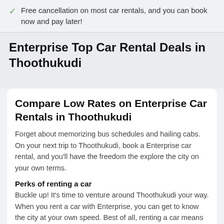Free cancellation on most car rentals, and you can book now and pay later!
Enterprise Top Car Rental Deals in Thoothukudi
Compare Low Rates on Enterprise Car Rentals in Thoothukudi
Forget about memorizing bus schedules and hailing cabs. On your next trip to Thoothukudi, book a Enterprise car rental, and you'll have the freedom the explore the city on your own terms.
Perks of renting a car
Buckle up! It's time to venture around Thoothukudi your way. When you rent a car with Enterprise, you can get to know the city at your own speed. Best of all, renting a car means you can say goodbye to rideshares, public transportation, cabs, and bribing your travel buddies for a ride.
Your ride, your style
Traveling for work or a conference? A luxury car with leather seats proves you mean business. Taking your family on a grand